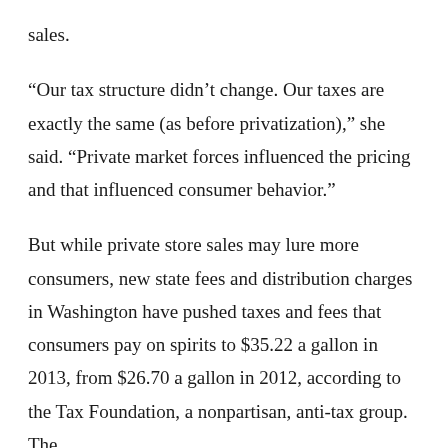sales.
“Our tax structure didn’t change. Our taxes are exactly the same (as before privatization),” she said. “Private market forces influenced the pricing and that influenced consumer behavior.”
But while private store sales may lure more consumers, new state fees and distribution charges in Washington have pushed taxes and fees that consumers pay on spirits to $35.22 a gallon in 2013, from $26.70 a gallon in 2012, according to the Tax Foundation, a nonpartisan, anti-tax group. The